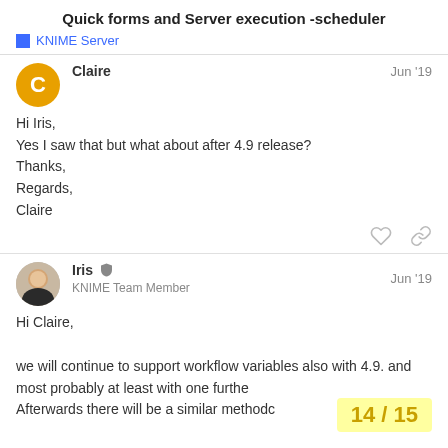Quick forms and Server execution -scheduler
KNIME Server
Claire
Jun '19
Hi Iris,
Yes I saw that but what about after 4.9 release?
Thanks,
Regards,
Claire
Iris
KNIME Team Member
Jun '19
Hi Claire,
we will continue to support workflow variables also with 4.9. and most probably at least with one furthe
Afterwards there will be a similar methodc